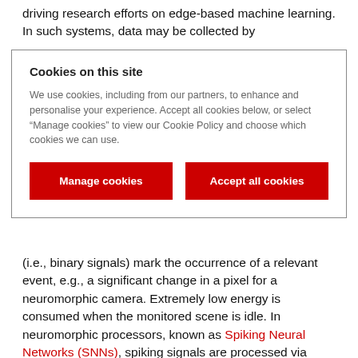driving research efforts on edge-based machine learning. In such systems, data may be collected by
Cookies on this site

We use cookies, including from our partners, to enhance and personalise your experience. Accept all cookies below, or select “Manage cookies” to view our Cookie Policy and choose which cookies we can use.

[Manage cookies] [Accept all cookies]
(i.e., binary signals) mark the occurrence of a relevant event, e.g., a significant change in a pixel for a neuromorphic camera. Extremely low energy is consumed when the monitored scene is idle. In neuromorphic processors, known as Spiking Neural Networks (SNNs), spiking signals are processed via dynamic neural models for the detection of spatio-temporal patterns. SNNs have recently emerged as a biologically plausible alternative to ANNs, with